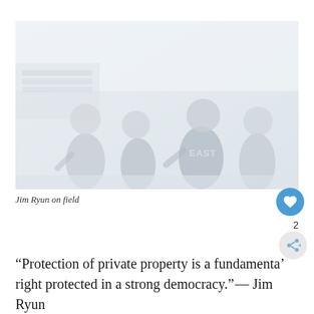[Figure (photo): Black and white vintage photograph of Jim Ryun running on a track field with other runners, one wearing a jersey that reads 'EAST'. The image is faded/washed out with light tones.]
Jim Ryun on field
“Protection of private property is a fundamental right protected in a strong democracy.”— Jim Ryun